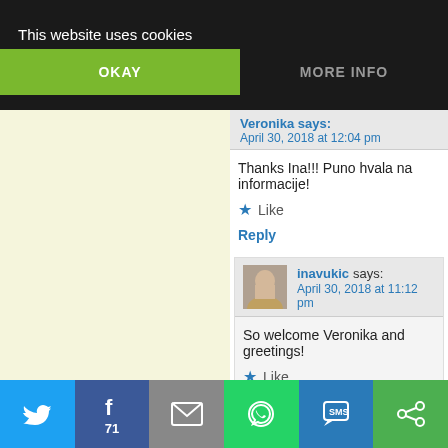This website uses cookies
OKAY
MORE INFO
Veronika says:
April 30, 2018 at 12:04 pm
Thanks Ina!!! Puno hvala na informacije!
Like
Reply
inavukic says:
April 30, 2018 at 11:12 pm
So welcome Veronika and greetings!
Like
Reply